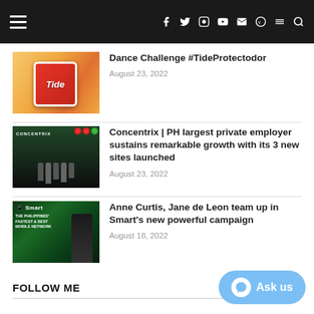Navigation bar with hamburger menu and social icons
[Figure (photo): Tide detergent box product thumbnail]
Dance Challenge #TideProtectodor
August 23, 2022
[Figure (photo): Concentrix office opening with people in front of decorated entrance]
Concentrix | PH largest private employer sustains remarkable growth with its 3 new sites launched
August 23, 2022
[Figure (photo): Smart Philippines fastest and best mobile network advertisement with Anne Curtis and Jane de Leon]
Anne Curtis, Jane de Leon team up in Smart's new powerful campaign
August 18, 2022
FOLLOW ME